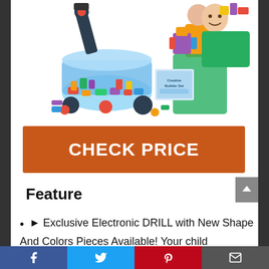[Figure (photo): Product photo showing colorful building blocks set with an electronic drill and a smiling child holding a robot figure, plus a container of pieces and instruction booklet]
CHECK PRICE
Feature
► Exclusive Electronic DRILL with New Shape And Colors Pieces Available! Your child deserves a more productive activity than video games, phones and tablets. Stem supported engineering blocks are